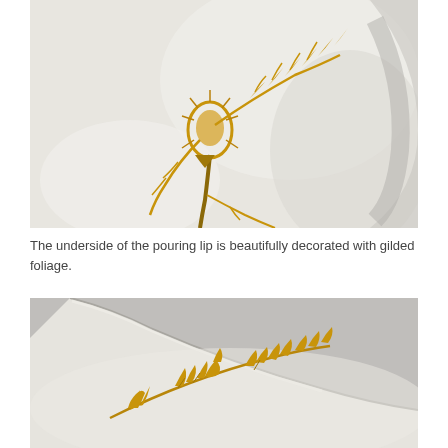[Figure (photo): Close-up photograph of the underside of a white ceramic pouring lip decorated with gilded foliage motifs on a white porcelain background.]
The underside of the pouring lip is beautifully decorated with gilded foliage.
[Figure (photo): Close-up photograph of a white ceramic surface decorated with gilded floral and leaf foliage patterns, showing the curved edge of a porcelain piece.]